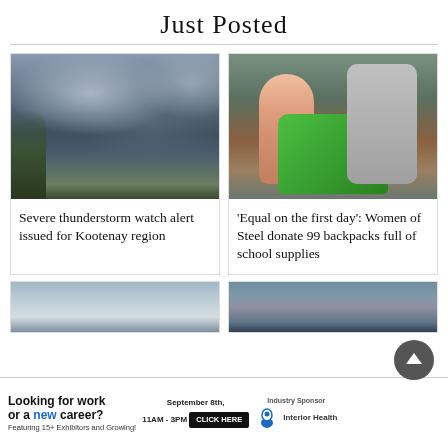Just Posted
[Figure (photo): Dark storm clouds over a green treeline — weather photo for severe thunderstorm watch article]
Severe thunderstorm watch alert issued for Kootenay region
[Figure (photo): A child and adult woman standing in front of a building holding green bags full of school supplies — backpack donation photo]
'Equal on the first day': Women of Steel donate 99 backpacks full of school supplies
[Figure (photo): Partial view of a cloudy sky landscape — bottom row article thumbnail (left)]
[Figure (photo): Partial view of a forested mountainside — bottom row article thumbnail (right)]
Looking for work or a new career? Featuring 15+ Exhibitors and Growing! September 8th, 11AM - 3PM CLICK HERE Industry Sponsor Interior Health